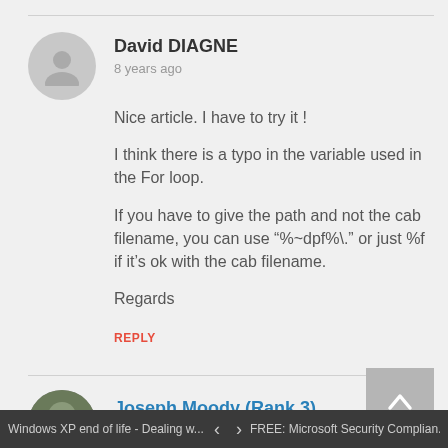David DIAGNE
8 years ago
Nice article. I have to try it !
I think there is a typo in the variable used in the For loop.
If you have to give the path and not the cab filename, you can use “%~dpf%\.” or just %f if it’s ok with the cab filename.
Regards
REPLY
Joseph Moody (Rank 3)
Windows XP end of life - Dealing w... < > FREE: Microsoft Security Complian...